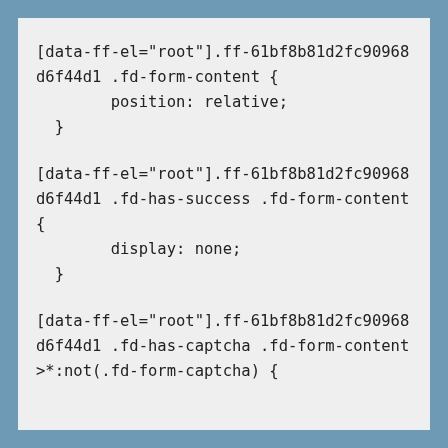[data-ff-el="root"].ff-61bf8b81d2fc90968d6f44d1 .fd-form-content {
        position: relative;
  }
[data-ff-el="root"].ff-61bf8b81d2fc90968d6f44d1 .fd-has-success .fd-form-content {
        display: none;
  }
[data-ff-el="root"].ff-61bf8b81d2fc90968d6f44d1 .fd-has-captcha .fd-form-content>*:not(.fd-form-captcha) {